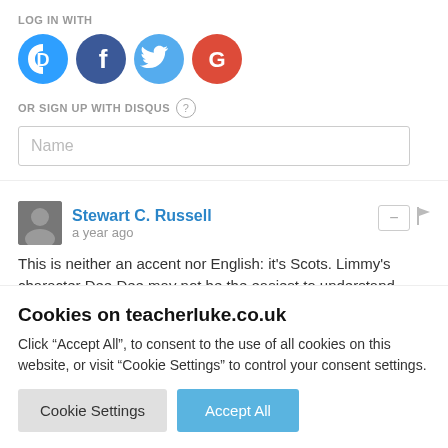LOG IN WITH
[Figure (screenshot): Social login icons: Disqus (blue speech bubble with D), Facebook (dark blue circle with f), Twitter (cyan circle with bird), Google (red circle with G)]
OR SIGN UP WITH DISQUS ?
Name
Stewart C. Russell
a year ago
This is neither an accent nor English: it's Scots. Limmy's character Dee Dee may not be the easiest to understand because he's supposed to be stoned all the time.
Cookies on teacherluke.co.uk
Click “Accept All”, to consent to the use of all cookies on this website, or visit “Cookie Settings” to control your consent settings.
Cookie Settings
Accept All